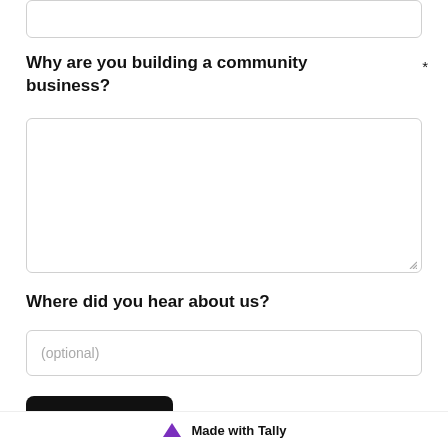[Figure (other): Partial text input box at the top of the page (cropped from previous section)]
Why are you building a community business? *
[Figure (other): Large empty textarea input box for free-form text response]
Where did you hear about us?
[Figure (other): Single-line text input with placeholder text '(optional)']
[Figure (other): Submit button with arrow icon, black background, white text]
Made with Tally